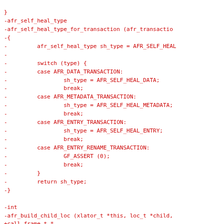}
-afr_self_heal_type
-afr_self_heal_type_for_transaction (afr_transactio
-{
-         afr_self_heal_type sh_type = AFR_SELF_HEAL
-
-         switch (type) {
-         case AFR_DATA_TRANSACTION:
-                 sh_type = AFR_SELF_HEAL_DATA;
-                 break;
-         case AFR_METADATA_TRANSACTION:
-                 sh_type = AFR_SELF_HEAL_METADATA;
-                 break;
-         case AFR_ENTRY_TRANSACTION:
-                 sh_type = AFR_SELF_HEAL_ENTRY;
-                 break;
-         case AFR_ENTRY_RENAME_TRANSACTION:
-                 GF_ASSERT (0);
-                 break;
-         }
-         return sh_type;
-}

-int
-afr_build_child_loc (xlator_t *this, loc_t *child,
+call_frame_t *
+afr_frame_create (xlator_t *this)
 {
-         int   ret = -1;
-         uuid_t parntfid_  [0];